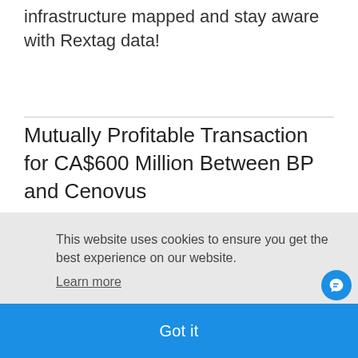infrastructure mapped and stay aware with Rextag data!
Mutually Profitable Transaction for CA$600 Million Between BP and Cenovus
This website uses cookies to ensure you get the best experience on our website. Learn more
Got it
[Figure (map): Partially visible map with Rextag branding and project label]